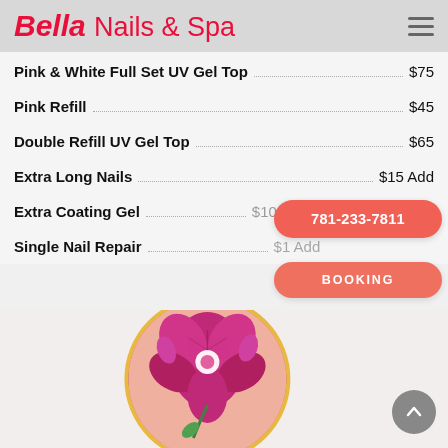Bella Nails & Spa
Pink & White Full Set UV Gel Top — $75
Pink Refill — $45
Double Refill UV Gel Top — $65
Extra Long Nails — $15 Add
Extra Coating Gel — $10 Add
Single Nail Repair — $1 Add
781-233-7811
BOOKING
[Figure (photo): Circular photo of pink/magenta orchid flowers held in a hand, with an orange/gold circular border frame, on a light pink background.]